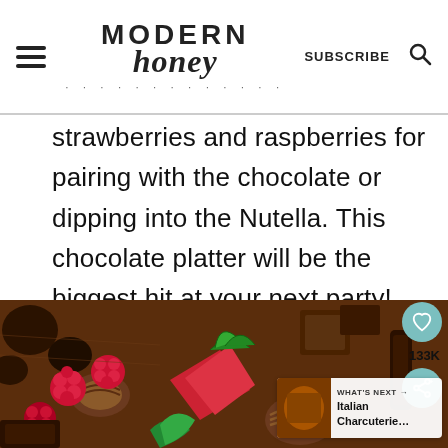Modern Honey — SUBSCRIBE
strawberries and raspberries for pairing with the chocolate or dipping into the Nutella. This chocolate platter will be the biggest hit at your next party!
[Figure (photo): Overhead close-up photograph of a chocolate charcuterie platter showing fresh raspberries, strawberries, various chocolate truffles, chocolate bark, and other chocolate pieces arranged on a wooden surface.]